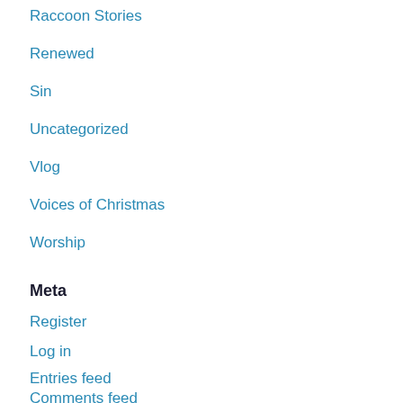Raccoon Stories
Renewed
Sin
Uncategorized
Vlog
Voices of Christmas
Worship
Meta
Register
Log in
Entries feed
Comments feed
WordPress.com